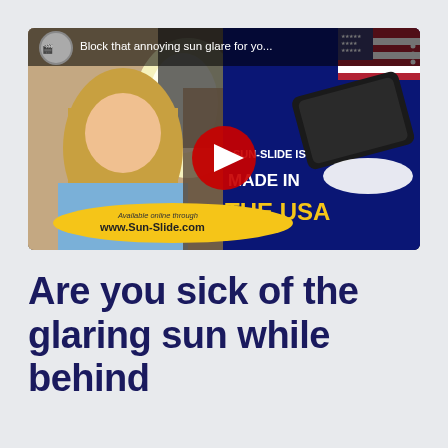[Figure (screenshot): YouTube video thumbnail/screenshot showing a woman in a car adjusting a sun visor. Text on video: 'Block that annoying sun glare for yo...' and 'SUN-SLIDE IS MADE IN THE USA'. Yellow oval badge at bottom left shows 'Available online through www.Sun-Slide.com'. YouTube play button visible in center. US flag visible top right.]
Are you sick of the glaring sun while behind